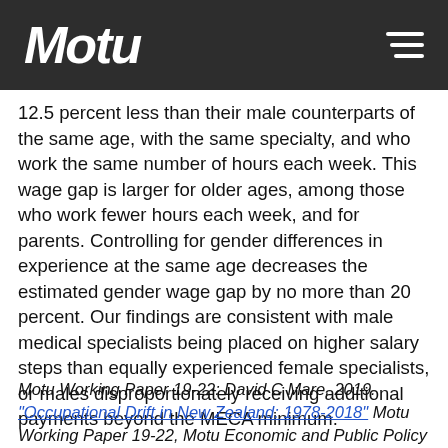Motu
12.5 percent less than their male counterparts of the same age, with the same specialty, and who work the same number of hours each week. This wage gap is larger for older ages, among those who work fewer hours each week, and for parents. Controlling for gender differences in experience at the same age decreases the estimated gender wage gap by no more than 20 percent. Our findings are consistent with male medical specialists being placed on higher salary steps than equally experienced female specialists, or males disproportionately receiving additional payments beyond the MECA minimum.
Motu Working Paper 19-22: David C Mare. 2019. "Occupational Drift in New Zealand: 1978-2018" Motu Working Paper 19-22, Motu Economic and Public Policy